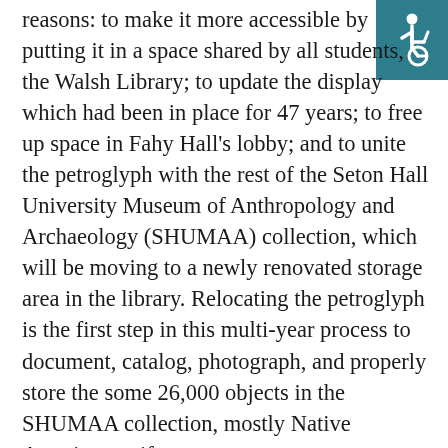[Figure (illustration): Wheelchair accessibility icon (white figure in wheelchair on teal/dark cyan background) in top-right corner]
reasons: to make it more accessible by putting it in a space shared by all students, the Walsh Library; to update the display which had been in place for 47 years; to free up space in Fahy Hall's lobby; and to unite the petroglyph with the rest of the Seton Hall University Museum of Anthropology and Archaeology (SHUMAA) collection, which will be moving to a newly renovated storage area in the library. Relocating the petroglyph is the first step in this multi-year process to document, catalog, photograph, and properly store the some 26,000 objects in the SHUMAA collection, mostly Native American artifacts, to meet museum standards and to make research easier and more transparent for faculty, students, and